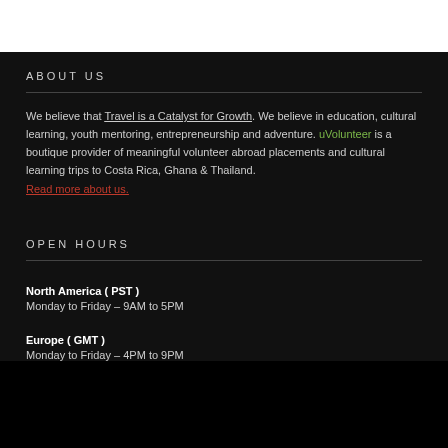ABOUT US
We believe that Travel is a Catalyst for Growth. We believe in education, cultural learning, youth mentoring, entrepreneurship and adventure. uVolunteer is a boutique provider of meaningful volunteer abroad placements and cultural learning trips to Costa Rica, Ghana & Thailand. Read more about us.
OPEN HOURS
North America ( PST )
Monday to Friday – 9AM to 5PM
Europe ( GMT )
Monday to Friday – 4PM to 9PM